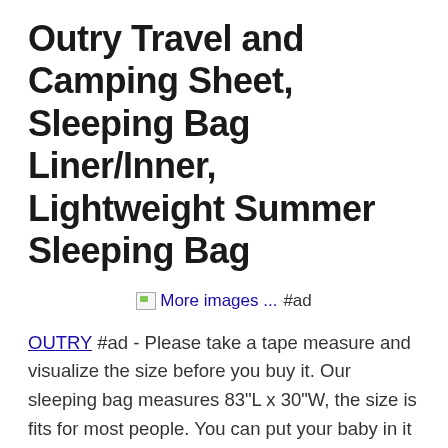Outry Travel and Camping Sheet, Sleeping Bag Liner/Inner, Lightweight Summer Sleeping Bag
[Figure (other): Broken image placeholder with 'More images ...' link text and '#ad' label]
OUTRY #ad - Please take a tape measure and visualize the size before you buy it. Our sleeping bag measures 83"L x 30"W, the size is fits for most people. You can put your baby in it and floor-play type toys. Lotion is effective up to 14 hours against mosquitoes and ticks; up to 8 hours against biting flies, gnats, chiggers, and sand flies.